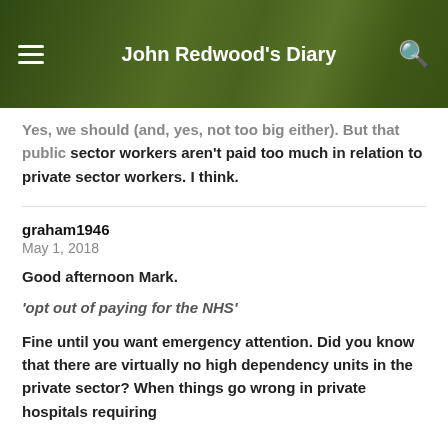John Redwood's Diary
Yes, we should (and, yes, not too big either). But that public sector workers aren't paid too much in relation to private sector workers. I think.
graham1946
May 1, 2018
Good afternoon Mark.
'opt out of paying for the NHS'
Fine until you want emergency attention. Did you know that there are virtually no high dependency units in the private sector? When things go wrong in private hospitals requiring intensive care patients are diverted to the NHS. What...